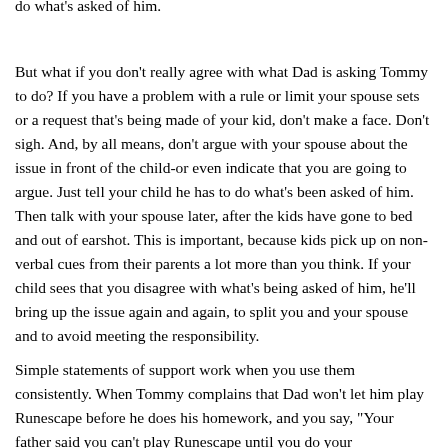do what's asked of him.
But what if you don't really agree with what Dad is asking Tommy to do? If you have a problem with a rule or limit your spouse sets or a request that's being made of your kid, don't make a face. Don't sigh. And, by all means, don't argue with your spouse about the issue in front of the child-or even indicate that you are going to argue. Just tell your child he has to do what's been asked of him. Then talk with your spouse later, after the kids have gone to bed and out of earshot. This is important, because kids pick up on non-verbal cues from their parents a lot more than you think. If your child sees that you disagree with what's being asked of him, he'll bring up the issue again and again, to split you and your spouse and to avoid meeting the responsibility.
Simple statements of support work when you use them consistently. When Tommy complains that Dad won't let him play Runescape before he does his homework, and you say, "Your father said you can't play Runescape until you do your